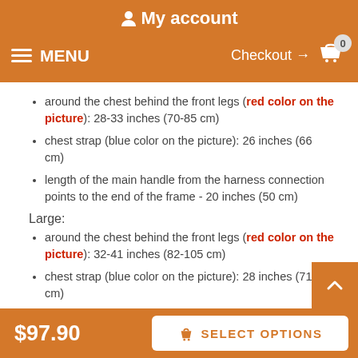My account
MENU   Checkout → 0
around the chest behind the front legs (red color on the picture): 28-33 inches (70-85 cm)
chest strap (blue color on the picture): 26 inches (66 cm)
length of the main handle from the harness connection points to the end of the frame - 20 inches (50 cm)
Large:
around the chest behind the front legs (red color on the picture): 32-41 inches (82-105 cm)
chest strap (blue color on the picture): 28 inches (71 cm)
length of the main handle from the harness connection points to the end of the frame - 20 inches (50 cm)
$97.90   SELECT OPTIONS